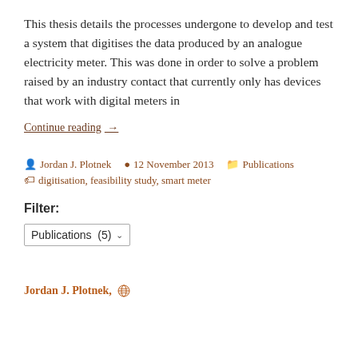This thesis details the processes undergone to develop and test a system that digitises the data produced by an analogue electricity meter. This was done in order to solve a problem raised by an industry contact that currently only has devices that work with digital meters in
Continue reading →
Jordan J. Plotnek   12 November 2013   Publications   digitisation, feasibility study, smart meter
Filter:
Publications (5)
Jordan J. Plotnek,